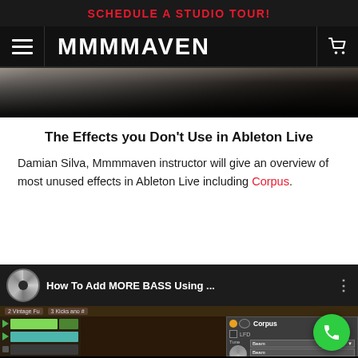SCHEDULE A STUDIO TOUR!
[Figure (logo): MMMMAVEN navigation bar with hamburger menu and cart icon]
[Figure (photo): Dark hero image showing musical instruments in low light]
The Effects you Don't Use in Ableton Live
Damian Silva, Mmmmaven instructor will give an overview of most unused effects in Ableton Live including Corpus.
[Figure (screenshot): YouTube video thumbnail: 'How To Add MORE BASS Using ...' showing Ableton Live DAW with Corpus plugin panel, tracks including '2 Vintage Fu' and '3 Kicks and #'. A green phone button is overlaid bottom right.]